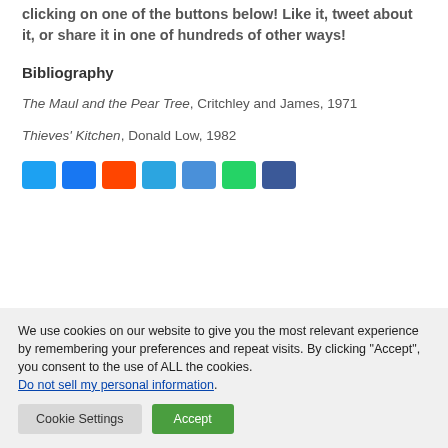Did you enjoy the article? If so, let the world know by clicking on one of the buttons below! Like it, tweet about it, or share it in one of hundreds of other ways!
Bibliography
The Maul and the Pear Tree, Critchley and James, 1971
Thieves' Kitchen, Donald Low, 1982
[Figure (other): Row of social media share buttons (Twitter, Facebook, Reddit, Telegram, Email, WhatsApp, Share)]
We use cookies on our website to give you the most relevant experience by remembering your preferences and repeat visits. By clicking "Accept", you consent to the use of ALL the cookies. Do not sell my personal information.
Cookie Settings  Accept